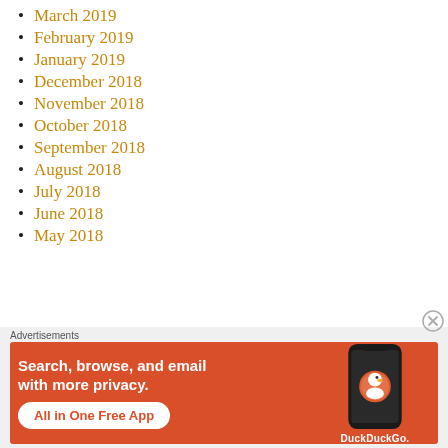March 2019
February 2019
January 2019
December 2018
November 2018
October 2018
September 2018
August 2018
July 2018
June 2018
May 2018
Advertisements
[Figure (other): DuckDuckGo advertisement banner with orange background. Text reads: Search, browse, and email with more privacy. All in One Free App. Shows a phone with DuckDuckGo logo.]